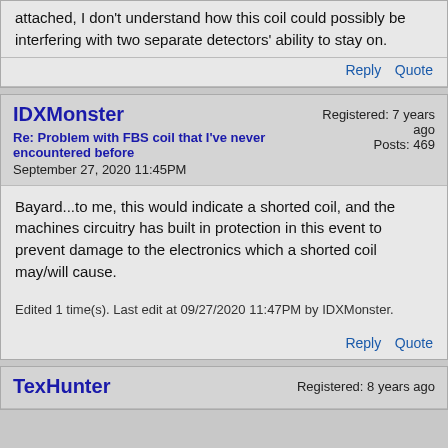attached, I don't understand how this coil could possibly be interfering with two separate detectors' ability to stay on.
Reply   Quote
IDXMonster
Re: Problem with FBS coil that I've never encountered before
September 27, 2020 11:45PM
Registered: 7 years ago
Posts: 469
Bayard...to me, this would indicate a shorted coil, and the machines circuitry has built in protection in this event to prevent damage to the electronics which a shorted coil may/will cause.
Edited 1 time(s). Last edit at 09/27/2020 11:47PM by IDXMonster.
Reply   Quote
TexHunter
Registered: 8 years ago